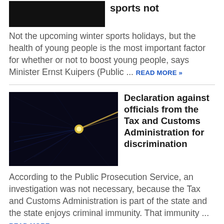[Figure (photo): Dark image, partially visible at top]
sports not
Not the upcoming winter sports holidays, but the health of young people is the most important factor for whether or not to boost young people, says Minister Ernst Kuipers (Public ... READ MORE »
[Figure (photo): Dark abstract network/star-like visualization on black background]
Declaration against officials from the Tax and Customs Administration for discrimination
According to the Public Prosecution Service, an investigation was not necessary, because the Tax and Customs Administration is part of the state and the state enjoys criminal immunity. That immunity ... READ MORE »